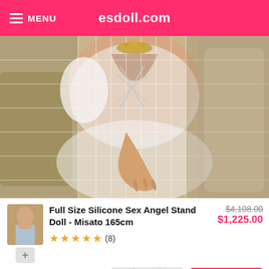MENU  esdoll.com
[Figure (photo): Product photo of a full-size silicone doll wearing white lace/fishnet lingerie, seated on a light-colored sofa/pillows, photographed from the torso down. The doll has light skin-tone hands resting on its lap.]
[Figure (photo): Small thumbnail image of the product doll in a different pose (standing), shown in the lower-left corner next to product details.]
Full Size Silicone Sex Angel Stand Doll - Misato 165cm
★★★★★ (8)
$4,108.00  $1,225.00
- 1 + Add to Cart